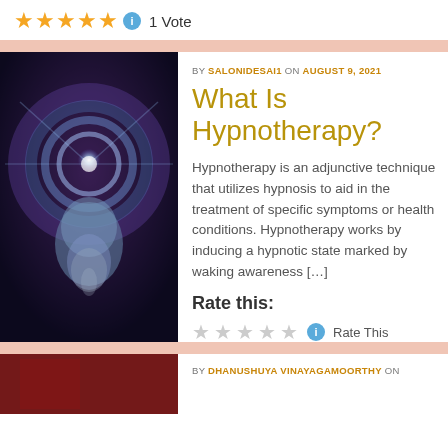[Figure (infographic): Five gold stars rating with info circle and '1 Vote' text]
[Figure (photo): Abstract illustration of a human head looking upward with glowing purple and blue energy or brain waves emanating from it, on a dark background]
BY SALONIDESAI1 ON AUGUST 9, 2021
What Is Hypnotherapy?
Hypnotherapy is an adjunctive technique that utilizes hypnosis to aid in the treatment of specific symptoms or health conditions. Hypnotherapy works by inducing a hypnotic state marked by waking awareness […]
Rate this:
Rate This
BY DHANUSHUYA VINAYAGAMOORTHY ON
[Figure (photo): Partial view of a dark red/maroon colored image, bottom article thumbnail]